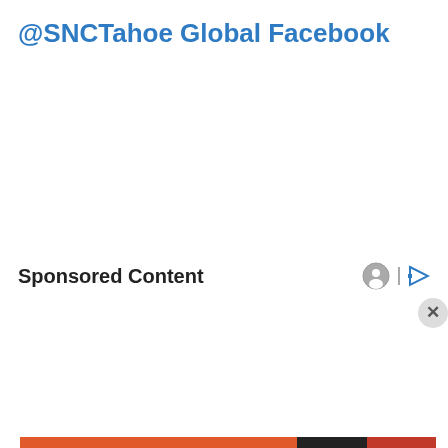@SNCTahoe Global Facebook
Sponsored Content
Privacy & Cookies: This site uses cookies. By continuing to use this website, you agree to their use.
To find out more, including how to control cookies, see here: Cookie Policy
Close and accept